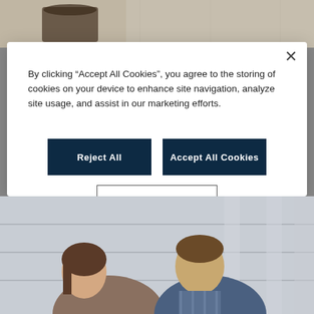[Figure (photo): Top portion of a photo showing what appears to be a coffee cup and table setting]
By clicking “Accept All Cookies”, you agree to the storing of cookies on your device to enhance site navigation, analyze site usage, and assist in our marketing efforts.
Reject All
Accept All Cookies
Cookies Settings
[Figure (photo): Bottom portion showing two young people (woman and man) looking down at something, likely a phone or book, on outdoor steps]